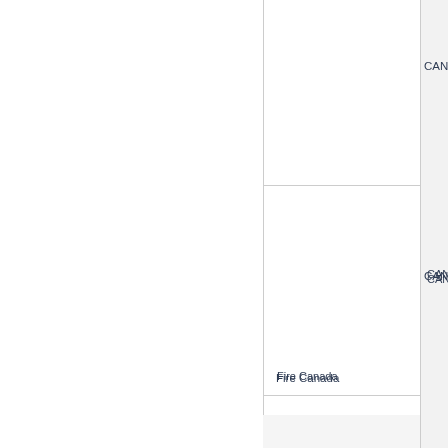|  | Fire Canada | CAN/ULC S1… |
| --- | --- | --- |
|  |  | CAN/ULC S1 |
|  |  | CAN/ULC S1 |
| Fire Canada |  | CAN/ULC S1 |
|  |  | CAN/ULC S1 |
|  |  |  |